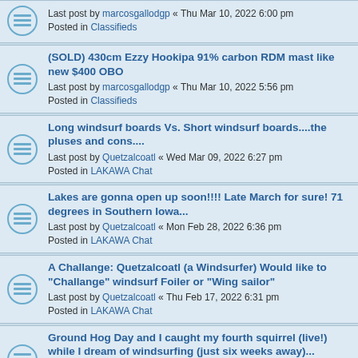Last post by marcosgallodgp « Thu Mar 10, 2022 6:00 pm
Posted in Classifieds
(SOLD) 430cm Ezzy Hookipa 91% carbon RDM mast like new $400 OBO
Last post by marcosgallodgp « Thu Mar 10, 2022 5:56 pm
Posted in Classifieds
Long windsurf boards Vs. Short windsurf boards....the pluses and cons....
Last post by Quetzalcoatl « Wed Mar 09, 2022 6:27 pm
Posted in LAKAWA Chat
Lakes are gonna open up soon!!!! Late March for sure! 71 degrees in Southern Iowa...
Last post by Quetzalcoatl « Mon Feb 28, 2022 6:36 pm
Posted in LAKAWA Chat
A Challange: Quetzalcoatl (a Windsurfer) Would like to "Challange" windsurf Foiler or "Wing sailor"
Last post by Quetzalcoatl « Thu Feb 17, 2022 6:31 pm
Posted in LAKAWA Chat
Ground Hog Day and I caught my fourth squirrel (live!) while I dream of windsurfing (just six weeks away)...
Last post by Quetzalcoatl « Wed Feb 02, 2022 12:54 pm
Posted in LAKAWA Chat
When Whitecaps turn into "Smoke on the Water".(how much wind needed)....
Last post by Quetzalcoatl « Tue Jan 18, 2022 1:18 pm
Posted in LAKAWA Chat